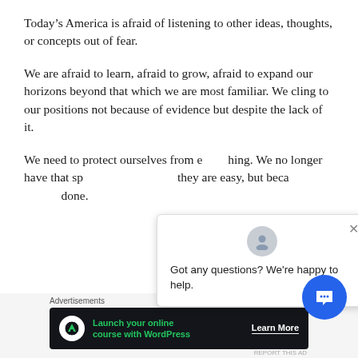Today’s America is afraid of listening to other ideas, thoughts, or concepts out of fear.
We are afraid to learn, afraid to grow, afraid to expand our horizons beyond that which we are most familiar. We cling to our positions not because of evidence but despite the lack of it.
We need to protect ourselves from e—thing. We no longer have that sp— they are easy, but beca— done.
[Figure (screenshot): Chat support popup overlay with avatar icon and text: 'Got any questions? We’re happy to help.' with a close X button, and a blue circular chat button in the lower right corner.]
Advertisements
[Figure (other): Advertisement banner: 'Launch your online course with WordPress' with a Learn More button on a dark background.]